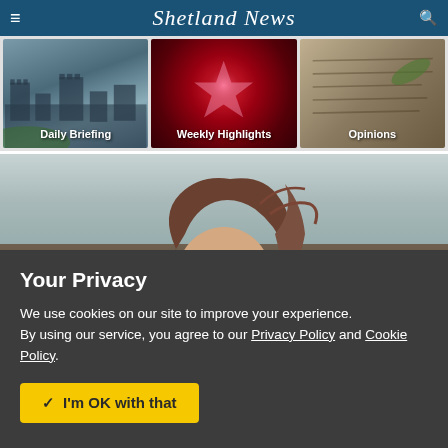Shetland News
[Figure (screenshot): Navigation thumbnail - Daily Briefing with castle background]
[Figure (screenshot): Navigation thumbnail - Weekly Highlights with red glowing background]
[Figure (screenshot): Navigation thumbnail - Opinions with handwriting background]
[Figure (photo): Woman with brown windswept hair outdoors against grey sky and rocky landscape]
Your Privacy
We use cookies on our site to improve your experience.
By using our service, you agree to our Privacy Policy and Cookie Policy.
✓  I'm OK with that